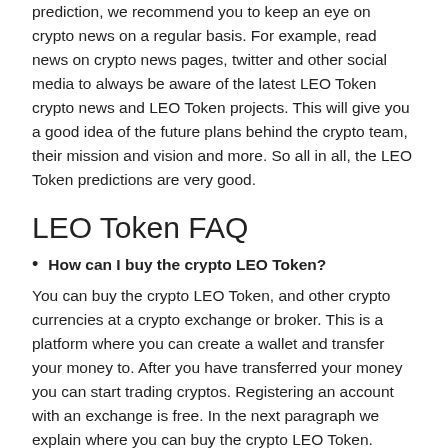prediction, we recommend you to keep an eye on crypto news on a regular basis. For example, read news on crypto news pages, twitter and other social media to always be aware of the latest LEO Token crypto news and LEO Token projects. This will give you a good idea of the future plans behind the crypto team, their mission and vision and more. So all in all, the LEO Token predictions are very good.
LEO Token FAQ
How can I buy the crypto LEO Token?
You can buy the crypto LEO Token, and other crypto currencies at a crypto exchange or broker. This is a platform where you can create a wallet and transfer your money to. After you have transferred your money you can start trading cryptos. Registering an account with an exchange is free. In the next paragraph we explain where you can buy the crypto LEO Token.